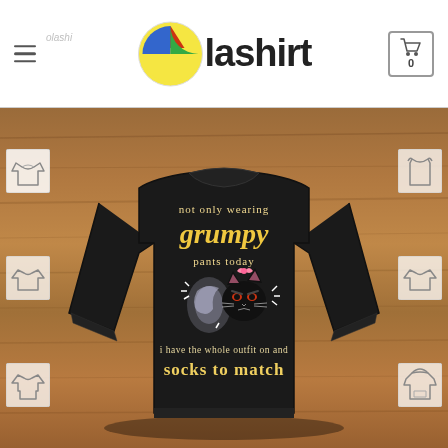Olashirt
[Figure (photo): E-commerce product page screenshot from Olashirt showing a black sweatshirt with text 'not only wearing grumpy pants today i have the whole outfit on and socks to match' with a grumpy black cat graphic. The site header shows the Olashirt logo with a colorful circle emblem. Clothing style selector icons appear on left and right sides of the product image. The background shows a wooden surface texture.]